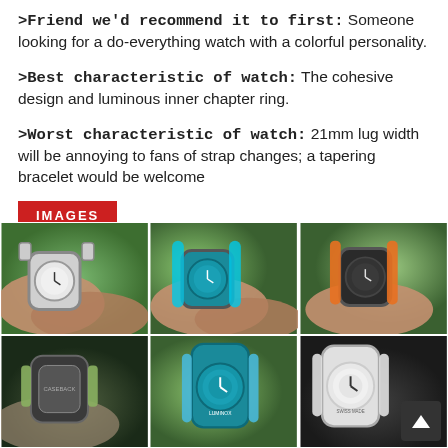>Friend we'd recommend it to first: Someone looking for a do-everything watch with a colorful personality.
>Best characteristic of watch: The cohesive design and luminous inner chapter ring.
>Worst characteristic of watch: 21mm lug width will be annoying to fans of strap changes; a tapering bracelet would be welcome
IMAGES
[Figure (photo): Watch on wrist with white/silver dial, green foliage background]
[Figure (photo): Watch on wrist with blue dial and cyan strap, green foliage background]
[Figure (photo): Watch on wrist with dark dial and orange strap, green foliage background]
[Figure (photo): Watch caseback view with green strap, dark background]
[Figure (photo): Watch with blue dial front view, green foliage background]
[Figure (photo): Watch with white/silver dial on white strap, dark background]